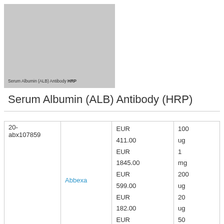[Figure (photo): Gray placeholder image box with text label 'Serum Albumin (ALB) Antibody HRP' at bottom left]
Serum Albumin (ALB) Antibody (HRP)
| Catalog | Supplier | Price | Size |
| --- | --- | --- | --- |
| 20-abx107859 | Abbexa | EUR 411.00
EUR 1845.00
EUR 599.00
EUR 182.00
EUR 300.00 | 100 ug
1 mg
200 ug
20 ug
50 ug |